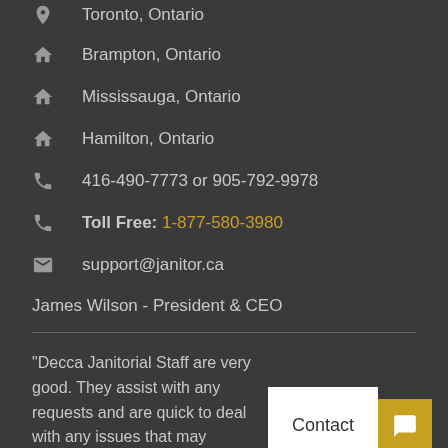Toronto, Ontario
Brampton, Ontario
Mississauga, Ontario
Hamilton, Ontario
416-490-7773 or 905-792-9978
Toll Free: 1-877-580-3980
support@janitor.ca
James Wilson - President & CEO
"Decca Janitorial Staff are very good. They assist with any requests and are quick to deal with any issues that may arise." - Susan A, Ontario